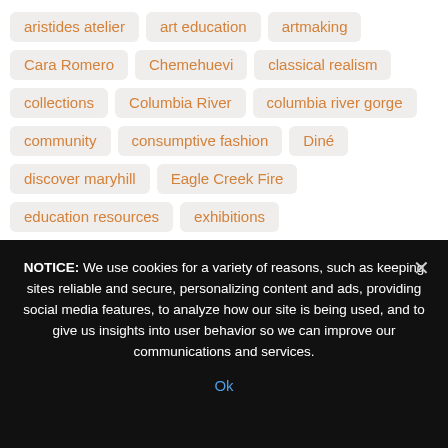aristides atelier
art education
artmaking
Cara Romero
Chemehuevi
classical realism
collections
Columbia River
columbia river gorge
community
consumptive fashion
Diné
discover maryhill
Eagle Creek Fire
education resources
exhibitions
exquisite gorge project
families
fashion
free activities
indigenous art
loie's cafe
maryhill favorites
maryhill museum of art
movies
online exhibition
NOTICE: We use cookies for a variety of reasons, such as keeping sites reliable and secure, personalizing content and ads, providing social media features, to analyze how our site is being used, and to give us insights into user behavior so we can improve our communications and services.
Ok